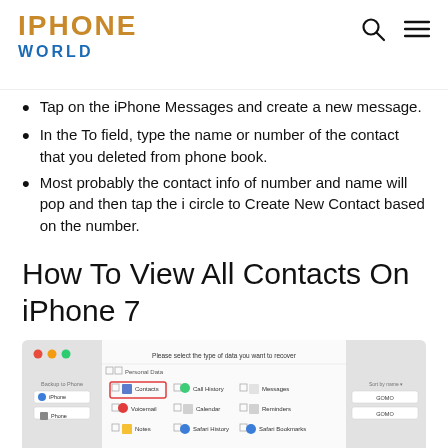IPHONE WORLD
Tap on the iPhone Messages and create a new message.
In the To field, type the name or number of the contact that you deleted from phone book.
Most probably the contact info of number and name will pop and then tap the i circle to Create New Contact based on the number.
How To View All Contacts On iPhone 7
[Figure (screenshot): Screenshot of a software interface showing a data recovery tool. Main panel displays 'Please select the type of data you want to recover' with checkboxes for Personal Data categories including Contacts (highlighted in red box), Call History, Messages, Voicemail, Calendar, Reminders, Notes, Safari History, Safari Bookmarks. Left panel shows device selection with iPhone options. Right panel partially visible.]